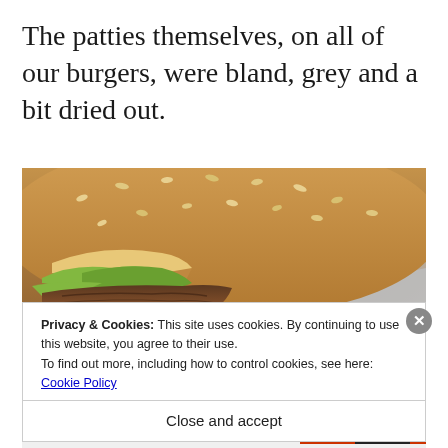The patties themselves, on all of our burgers, were bland, grey and a bit dried out.
[Figure (photo): Close-up photo of a bitten burger showing grey/brown patty, green lettuce, sesame seed bun, wrapped in foil]
Privacy & Cookies: This site uses cookies. By continuing to use this website, you agree to their use.
To find out more, including how to control cookies, see here: Cookie Policy
Close and accept